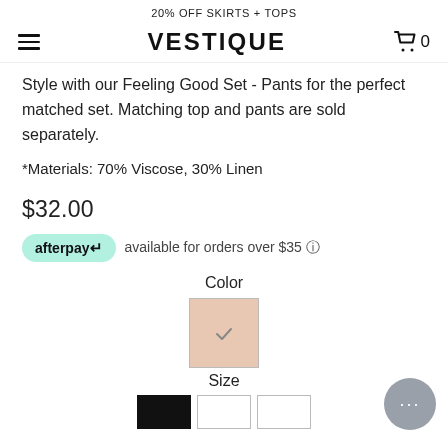20% OFF SKIRTS + TOPS
VESTIQUE
Style with our Feeling Good Set - Pants for the perfect matched set. Matching top and pants are sold separately.
*Materials: 70% Viscose, 30% Linen
$32.00
afterpay available for orders over $35 ℹ
Color
[Figure (other): A beige/nude color swatch square with a checkmark indicating selected color]
Size
[Figure (other): Size selection buttons: first button is black (filled), next two are white/empty]